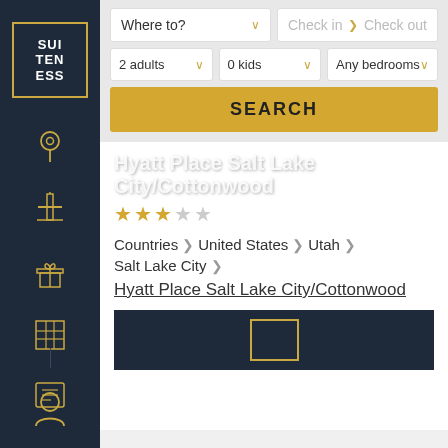[Figure (logo): Suiteness logo - dark navy background with gold border, text SUI TEN ESS]
[Figure (screenshot): Search bar interface with Where to dropdown, Check in / Check out date fields, 2 adults, 0 kids, Any bedrooms dropdowns, and a gold SEARCH button]
Hyatt Place Salt Lake City/Cottonwood
[Figure (other): 3.5 star rating shown with 3 filled gold stars and 2 empty stars]
Countries > United States > Utah > Salt Lake City >
Hyatt Place Salt Lake City/Cottonwood
[Figure (other): Dark navy bottom section showing partial hotel image with gold rectangle outline]